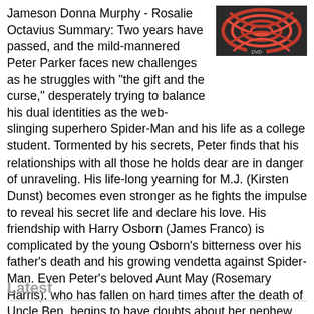Jameson Donna Murphy - Rosalie Octavius Summary: Two years have passed, and the mild-mannered Peter Parker faces new challenges as he struggles with "the gift and the curse," desperately trying to balance his dual identities as the web-slinging superhero Spider-Man and his life as a college student. Tormented by his secrets, Peter finds that his relationships with all those he holds dear are in danger of unraveling. His life-long yearning for M.J. (Kirsten Dunst) becomes even stronger as he fights the impulse to reveal his secret life and declare his love. His friendship with Harry Osborn (James Franco) is complicated by the young Osborn's bitterness over his father's death and his growing vendetta against Spider-Man. Even Peter's beloved Aunt May (Rosemary Harris), who has fallen on hard times after the death of Uncle Ben, begins to have doubts about her nephew.
[Figure (photo): DVD cover image showing red web/rope design on dark background with DVD logo]
Latest